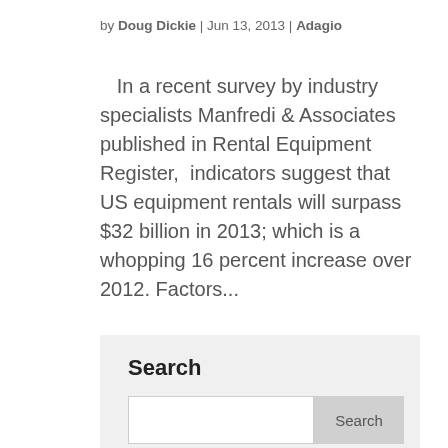by Doug Dickie | Jun 13, 2013 | Adagio
In a recent survey by industry specialists Manfredi & Associates published in Rental Equipment Register, indicators suggest that US equipment rentals will surpass $32 billion in 2013; which is a whopping 16 percent increase over 2012. Factors...
Search
[Figure (screenshot): Search input field with a Search button on the right]
[Figure (infographic): Blue banner reading: Get Our Quarterly Adagio Newsletter]